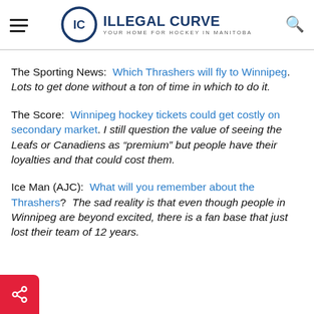ILLEGAL CURVE — YOUR HOME FOR HOCKEY IN MANITOBA
The Sporting News:  Which Thrashers will fly to Winnipeg.  Lots to get done without a ton of time in which to do it.
The Score:  Winnipeg hockey tickets could get costly on secondary market. I still question the value of seeing the Leafs or Canadiens as “premium” but people have their loyalties and that could cost them.
Ice Man (AJC):  What will you remember about the Thrashers?  The sad reality is that even though people in Winnipeg are beyond excited, there is a fan base that just lost their team of 12 years.